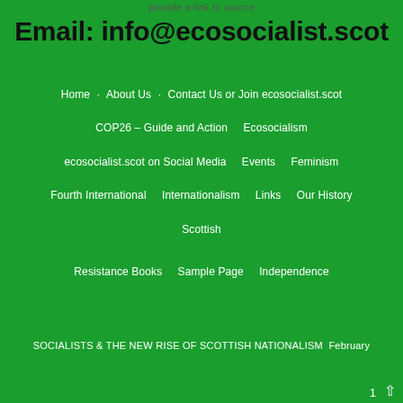provide a link to source
Email: info@ecosocialist.scot
Home    About Us    Contact Us or Join ecosocialist.scot
COP26 – Guide and Action    Ecosocialism
ecosocialist.scot on Social Media    Events    Feminism
Fourth International    Internationalism    Links    Our History
Scottish
Resistance Books    Sample Page    Independence
SOCIALISTS & THE NEW RISE OF SCOTTISH NATIONALISM February
1 ↑